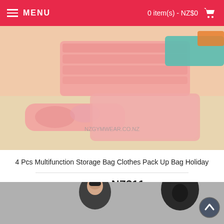MENU   0 item(s) - NZ$0
[Figure (photo): Pink multifunction storage bags arranged on a wooden surface, various sizes stacked and laid flat.]
4 Pcs Multifunction Storage Bag Clothes Pack Up Bag Holiday
NZ$26  NZ$11
ADD TO CART
Add to Wish List   Add to Compare
[Figure (photo): Two men wearing black hooded winter jackets, one with hood down and one with hood up covering face.]